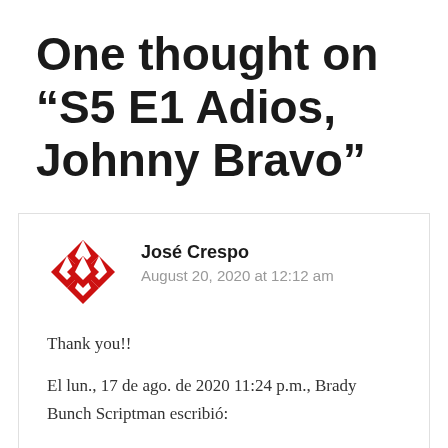One thought on “S5 E1 Adios, Johnny Bravo”
José Crespo
August 20, 2020 at 12:12 am
Thank you!!
El lun., 17 de ago. de 2020 11:24 p.m., Brady Bunch Scriptman escribió:
> jimihaze68 posted: “ Adios, Johnny Bravo Written by Joanna Lee Greg > receives an offer to